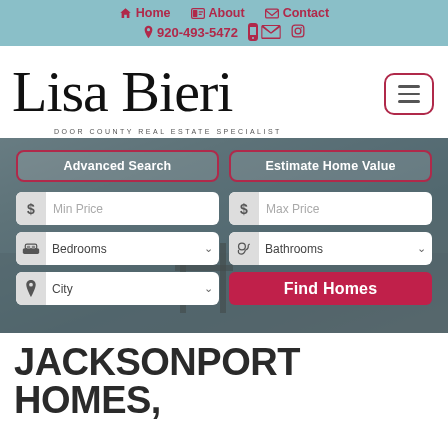Home  About  Contact  920-493-5472
[Figure (logo): Lisa Bieri - Door County Real Estate Specialist cursive logo with hamburger menu button]
[Figure (screenshot): Property search widget with Advanced Search and Estimate Home Value tabs, Min Price, Max Price, Bedrooms, Bathrooms, City fields, and Find Homes button, overlaid on a lake/dock background photo]
JACKSONPORT HOMES,